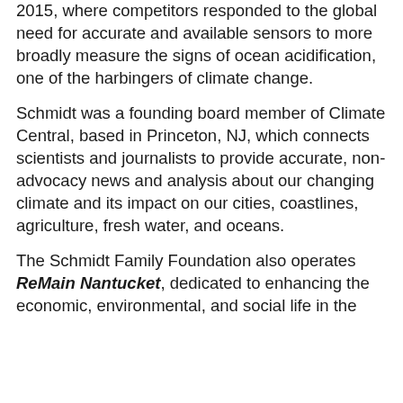2015, where competitors responded to the global need for accurate and available sensors to more broadly measure the signs of ocean acidification, one of the harbingers of climate change.
Schmidt was a founding board member of Climate Central, based in Princeton, NJ, which connects scientists and journalists to provide accurate, non-advocacy news and analysis about our changing climate and its impact on our cities, coastlines, agriculture, fresh water, and oceans.
The Schmidt Family Foundation also operates ReMain Nantucket, dedicated to enhancing the economic, environmental, and social life in the